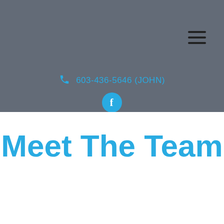[Figure (screenshot): Dark grey navigation header with hamburger menu icon in top right, phone number and Facebook icon in lower portion]
603-436-5646 (JOHN)
Meet The Team